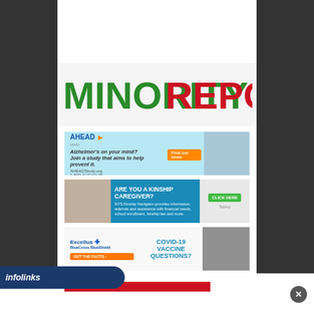Search here
Monday 29 August 2022
MINORITY REPORTER
[Figure (infographic): AHEAD Study advertisement banner: Alzheimer's on your mind? Join a study that aims to help prevent it. Find out more. AHEAD Study.org 1-800-AHEAD-75]
[Figure (infographic): Kinship Caregiver advertisement: ARE YOU A KINSHIP CAREGIVER? NYS Kinship Navigator provides information, referrals and assistance with financial needs, school enrollment, kinship law and more. CLICK HERE]
[Figure (infographic): Excellus BlueCross BlueShield advertisement: COVID-19 VACCINE QUESTIONS? GET THE FACTS > with photo of person receiving vaccine]
[Figure (logo): infolinks logo in bottom left corner]
[Figure (infographic): Close (X) button in lower right corner]